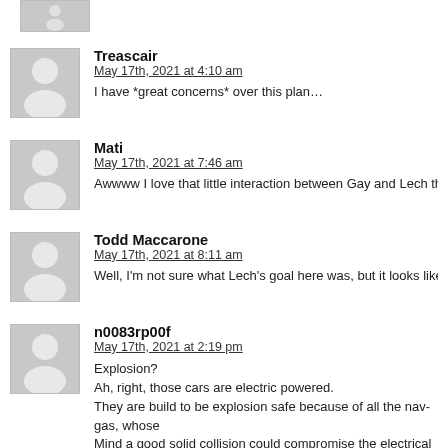[Figure (other): Partial avatar image at top of page, cropped]
Treascair
May 17th, 2021 at 4:10 am
I have *great concerns* over this plan…
Mati
May 17th, 2021 at 7:46 am
Awwww I love that little interaction between Gay and Lech they really k
Todd Maccarone
May 17th, 2021 at 8:11 am
Well, I'm not sure what Lech's goal here was, but it looks like it was…
n0083rp00f
May 17th, 2021 at 2:19 pm
Explosion?
Ah, right, those cars are electric powered.
They are build to be explosion safe because of all the nav-gas, whose
Mind a good solid collision could compromise the electrical system.